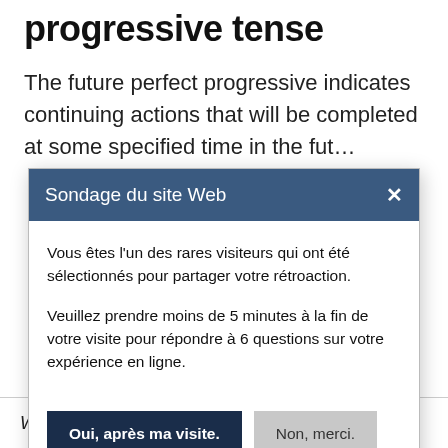progressive tense
The future perfect progressive indicates continuing actions that will be completed at some specified time in the future.
Sondage du site Web
Vous êtes l'un des rares visiteurs qui ont été sélectionnés pour partager votre rétroaction.
Veuillez prendre moins de 5 minutes à la fin de votre visite pour répondre à 6 questions sur votre expérience en ligne.
Oui, après ma visite.
Non, merci.